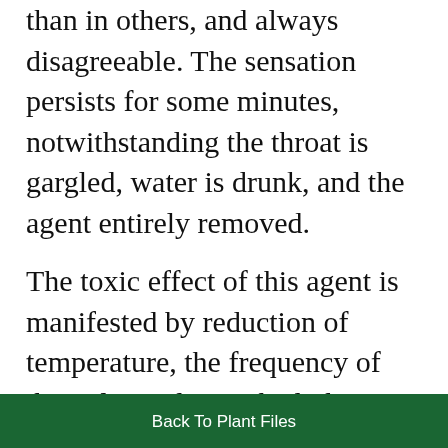than in others, and always disagreeable. The sensation persists for some minutes, notwithstanding the throat is gargled, water is drunk, and the agent entirely removed.
The toxic effect of this agent is manifested by reduction of temperature, the frequency of the pulse is diminished, the mucous membrane becomes dry and parched, accompainied with a prickly sensation; there is headache of a bursting character, and a tendency to fainting is observed if the patient assumes an erect
Back To Plant Files